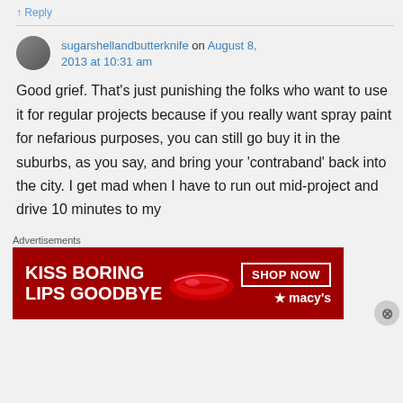↑ Reply
sugarshellandbutterknife on August 8, 2013 at 10:31 am
Good grief. That's just punishing the folks who want to use it for regular projects because if you really want spray paint for nefarious purposes, you can still go buy it in the suburbs, as you say, and bring your 'contraband' back into the city. I get mad when I have to run out mid-project and drive 10 minutes to my
Advertisements
[Figure (photo): Advertisement banner for Macy's: 'KISS BORING LIPS GOODBYE' with red background, woman's face with red lips, and a 'SHOP NOW' button with Macy's logo.]